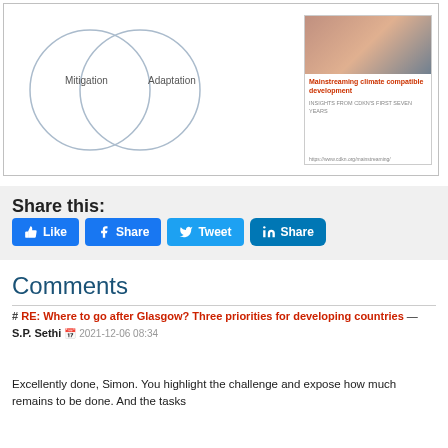[Figure (other): Venn diagram showing overlapping circles for Mitigation and Adaptation, with a side card showing 'Mainstreaming climate compatible development' text and a photo.]
Share this:
[Figure (other): Social sharing buttons: Like (Facebook), Share (Facebook), Tweet (Twitter), Share (LinkedIn)]
Comments
# RE: Where to go after Glasgow? Three priorities for developing countries — S.P. Sethi  2021-12-06 08:34
Excellently done, Simon. You highlight the challenge and expose how much remains to be done. And the tasks